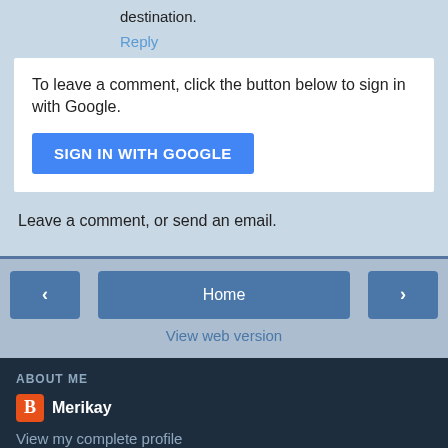destination.
Reply
To leave a comment, click the button below to sign in with Google.
SIGN IN WITH GOOGLE
Leave a comment, or send an email.
[Figure (screenshot): Navigation bar with left arrow, Home button, and right arrow]
View web version
ABOUT ME
Merikay
View my complete profile
Powered by Blogger.